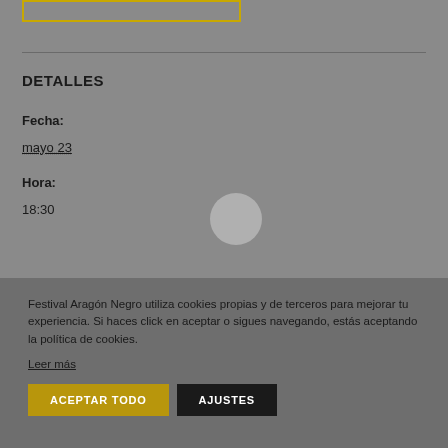DETALLES
Fecha:
mayo 23
Hora:
18:30
Festival Aragón Negro utiliza cookies propias y de terceros para mejorar tu experiencia. Si haces click en aceptar o sigues navegando, estás aceptando la política de cookies.
Leer más
ACEPTAR TODO
AJUSTES